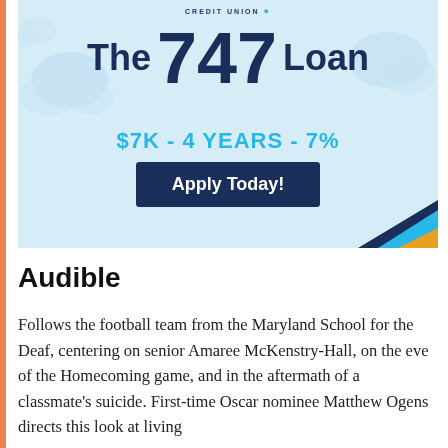[Figure (infographic): Advertisement for a credit union's '747 Loan' — $7K, 4 Years, 7% — with an 'Apply Today!' button on a light blue background with cloud graphics and a blue/orange diagonal stripe in the corner.]
Audible
Follows the football team from the Maryland School for the Deaf, centering on senior Amaree McKenstry-Hall, on the eve of the Homecoming game, and in the aftermath of a classmate's suicide. First-time Oscar nominee Matthew Ogens directs this look at living with...